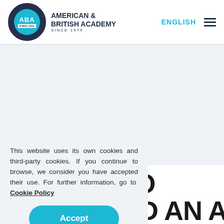[Figure (logo): ABA English - American & British Academy since 1975 logo with circular blue emblem]
ENGLISH
This website uses its own cookies and third-party cookies. If you continue to browse, we consider you have accepted their use. For further information, go to Cookie Policy
Accept
IKE TO DOWNLOAD AN APP TO